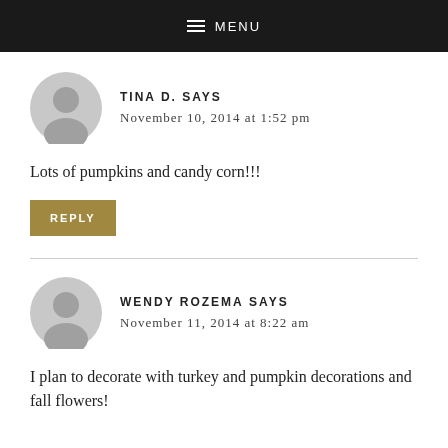MENU
TINA D. SAYS
November 10, 2014 at 1:52 pm
Lots of pumpkins and candy corn!!!
REPLY
WENDY ROZEMA SAYS
November 11, 2014 at 8:22 am
I plan to decorate with turkey and pumpkin decorations and fall flowers!